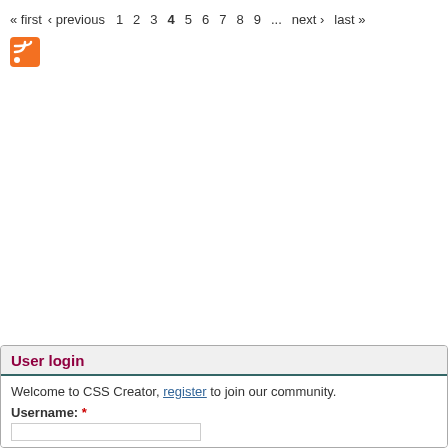« first  ‹ previous  1  2  3  4  5  6  7  8  9  ...  next ›  last »
[Figure (other): RSS feed icon, orange square with white RSS symbol]
User login
Welcome to CSS Creator, register to join our community.
Username: *